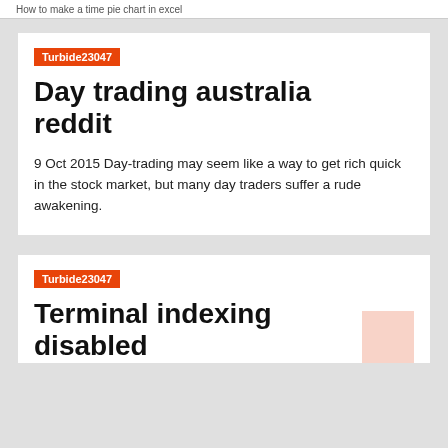How to make a time pie chart in excel
Turbide23047
Day trading australia reddit
9 Oct 2015 Day-trading may seem like a way to get rich quick in the stock market, but many day traders suffer a rude awakening.
Turbide23047
Terminal indexing disabled